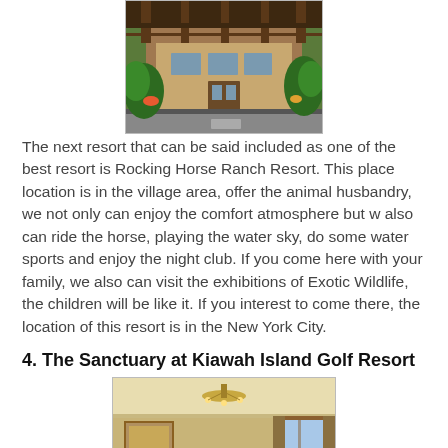[Figure (photo): Exterior photo of a resort building with wooden pergola/trellis structure, lush tropical greenery and flowers, driveway in foreground]
The next resort that can be said included as one of the best resort is Rocking Horse Ranch Resort. This place location is in the village area, offer the animal husbandry, we not only can enjoy the comfort atmosphere but w also can ride the horse, playing the water sky, do some water sports and enjoy the night club. If you come here with your family, we also can visit the exhibitions of Exotic Wildlife, the children will be like it. If you interest to come there, the location of this resort is in the New York City.
4. The Sanctuary at Kiawah Island Golf Resort
[Figure (photo): Interior photo of a luxurious hotel suite or living room with chandelier, elegant furniture, sofas, armchairs, lamps, drapes, and windows with ocean/bright view]